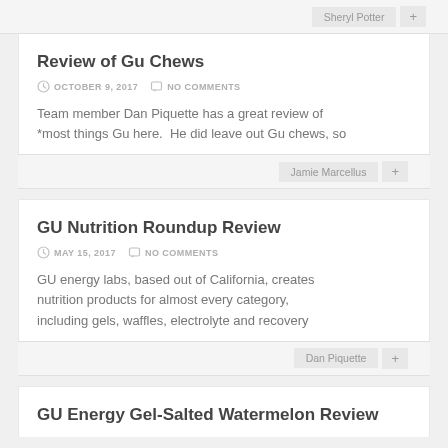Sheryl Potter  +
Review of Gu Chews
OCTOBER 9, 2017   NO COMMENTS
Team member Dan Piquette has a great review of *most things Gu here.  He did leave out Gu chews, so
Jamie Marcellus  +
GU Nutrition Roundup Review
MAY 15, 2017   NO COMMENTS
GU energy labs, based out of California, creates nutrition products for almost every category, including gels, waffles, electrolyte and recovery
Dan Piquette  +
GU Energy Gel-Salted Watermelon Review